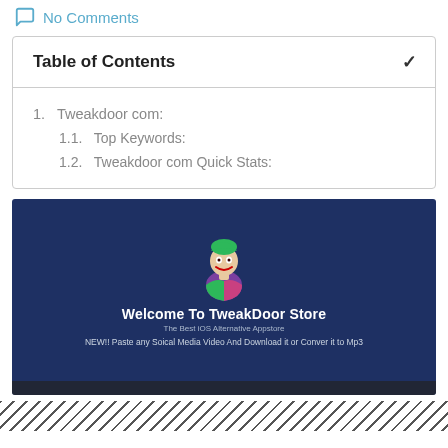No Comments
| 1.  Tweakdoor com: |
| 1.1.  Top Keywords: |
| 1.2.  Tweakdoor com Quick Stats: |
[Figure (screenshot): Screenshot of TweakDoor Store website with a Joker-style character logo, dark blue background, welcome text 'Welcome To TweakDoor Store', subtitle 'The Best iOS Alternative Appstore', and text 'NEW!! Paste any Soical Media Video And Download it or Conver it to Mp3']
[Figure (other): Diagonal hatching pattern bar at the bottom of the page]